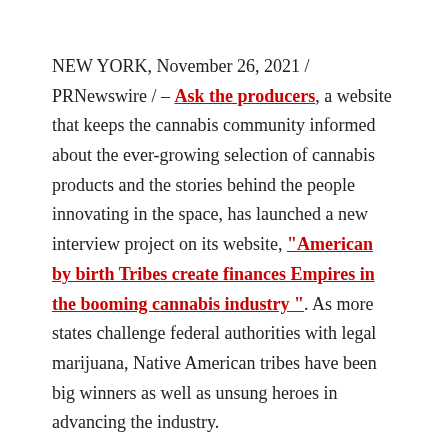NEW YORK, November 26, 2021 / PRNewswire / – Ask the producers, a website that keeps the cannabis community informed about the ever-growing selection of cannabis products and the stories behind the people innovating in the space, has launched a new interview project on its website, "American by birth Tribes create finances Empires in the booming cannabis industry". As more states challenge federal authorities with legal marijuana, Native American tribes have been big winners as well as unsung heroes in advancing the industry.
The interview project is part of AskGrower's mission to recognize diversity in the cannabis industry. The highlights of the article are as follows:
A private equity manager of Portland, Oregon, is the source of more than a dozen tribal cannabis success